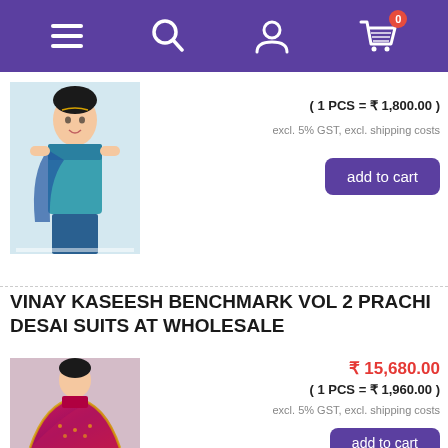[Figure (screenshot): Navigation bar with hamburger menu, search icon, user icon, and cart icon with badge showing 0]
[Figure (photo): Woman wearing teal/blue Indian suit (salwar kameez) with jewelry]
( 1 PCS = ₹ 1,800.00 )
excl. 5% GST, excl. shipping costs
add to cart
VINAY KASEESH BENCHMARK VOL 2 PRACHI DESAI SUITS AT WHOLESALE
[Figure (photo): Woman wearing magenta/pink Indian saree with gold border outdoors]
₹ 15,680.00
( 1 PCS = ₹ 1,960.00 )
excl. 5% GST, excl. shipping costs
add to cart